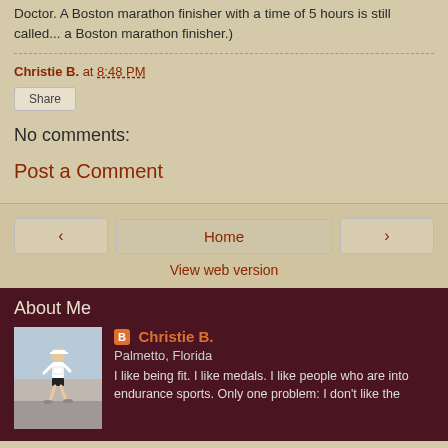Doctor. A Boston marathon finisher with a time of 5 hours is still called... a Boston marathon finisher.)
Christie B. at 8:48 PM
Share
No comments:
Post a Comment
‹   Home   ›
View web version
About Me
[Figure (photo): Profile photo of a woman running in a marathon, wearing white top and black shorts, outdoor event with crowd in background]
Christie B.
Palmetto, Florida
I like being fit. I like medals. I like people who are into endurance sports. Only one problem: I don't like the